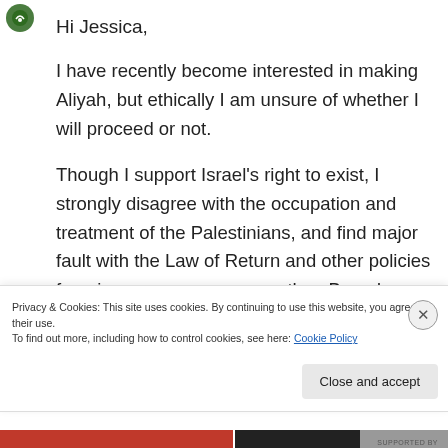[Figure (logo): Green circular logo icon in top left corner]
Hi Jessica,

I have recently become interested in making Aliyah, but ethically I am unsure of whether I will proceed or not.

Though I support Israel's right to exist, I strongly disagree with the occupation and treatment of the Palestinians, and find major fault with the Law of Return and other policies favoring one group over another. Based on this you might call
Privacy & Cookies: This site uses cookies. By continuing to use this website, you agree to their use.
To find out more, including how to control cookies, see here: Cookie Policy
Close and accept